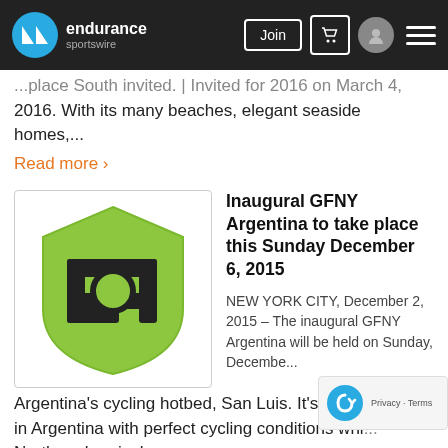endurance sportswire — Join
...place South invited. | Invited for 2016 on March 4, 2016. With its many beaches, elegant seaside homes,...
Read more ›
Inaugural GFNY Argentina to take place this Sunday December 6, 2015
[Figure (logo): GFNY logo: green shield with stylized EF letters in black]
NEW YORK CITY, December 2, 2015 – The inaugural GFNY Argentina will be held on Sunday, December...
Argentina's cycling hotbed, San Luis. It's now su... in Argentina with perfect cycling conditions whi... Northern hemisphere.